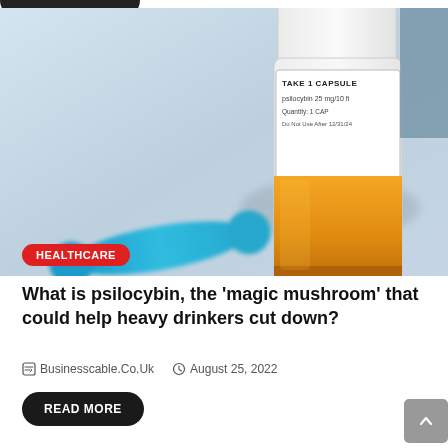[Figure (photo): Close-up photo of a white prescription medication bottle with label reading 'TAKE 1 CAPSULE' and 'psilocybin 25 mg', with an orange bottom section, and a blue capsule pill in the foreground, set against a light blue/grey background.]
HEALTHCARE
What is psilocybin, the ‘magic mushroom’ that could help heavy drinkers cut down?
Businesscable.Co.Uk   August 25, 2022
READ MORE